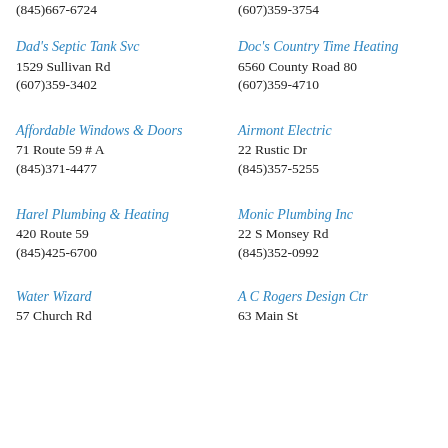(845)667-6724
(607)359-3754
Dad's Septic Tank Svc
1529 Sullivan Rd
(607)359-3402
Doc's Country Time Heating
6560 County Road 80
(607)359-4710
Affordable Windows & Doors
71 Route 59 # A
(845)371-4477
Airmont Electric
22 Rustic Dr
(845)357-5255
Harel Plumbing & Heating
420 Route 59
(845)425-6700
Monic Plumbing Inc
22 S Monsey Rd
(845)352-0992
Water Wizard
57 Church Rd
A C Rogers Design Ctr
63 Main St